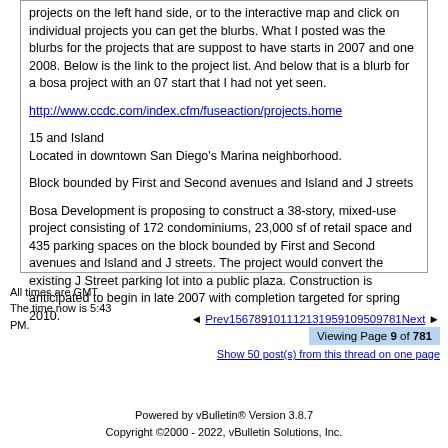projects on the left hand side, or to the interactive map and click on individual projects you can get the blurbs. What I posted was the blurbs for the projects that are suppost to have starts in 2007 and one 2008. Below is the link to the project list. And below that is a blurb for a bosa project with an 07 start that I had not yet seen.
http://www.ccdc.com/index.cfm/fuseaction/projects.home
15 and Island
Located in downtown San Diego's Marina neighborhood.
Block bounded by First and Second avenues and Island and J streets
Bosa Development is proposing to construct a 38-story, mixed-use project consisting of 172 condominiums, 23,000 sf of retail space and 435 parking spaces on the block bounded by First and Second avenues and Island and J streets. The project would convert the existing J Street parking lot into a public plaza. Construction is anticipated to begin in late 2007 with completion targeted for spring 2010.
All times are GMT. The time now is 5:43 PM.
◄ Prev 1 5 6 7 8 9 10 11 12 13 19 59 109 509 781 Next ► Viewing Page 9 of 781 Show 50 post(s) from this thread on one page
Powered by vBulletin® Version 3.8.7
Copyright ©2000 - 2022, vBulletin Solutions, Inc.